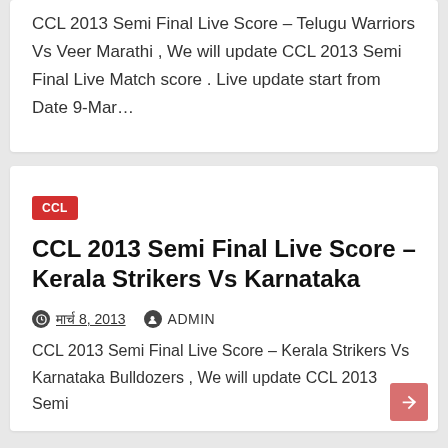CCL 2013 Semi Final Live Score – Telugu Warriors Vs Veer Marathi , We will update CCL 2013 Semi Final Live Match score . Live update start from Date 9-Mar…
CCL
CCL 2013 Semi Final Live Score – Kerala Strikers Vs Karnataka
मार्च 8, 2013   ADMIN
CCL 2013 Semi Final Live Score – Kerala Strikers Vs Karnataka Bulldozers , We will update CCL 2013 Semi